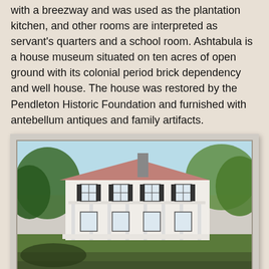with a breezway and was used as the plantation kitchen, and other rooms are interpreted as servant's quarters and a school room. Ashtabula is a house museum situated on ten acres of open ground with its colonial period brick dependency and well house. The house was restored by the Pendleton Historic Foundation and furnished with antebellum antiques and family artifacts.
[Figure (photo): Photograph of Ashtabula House, a two-story white plantation house with wraparound porch, black shutters, and a chimney, surrounded by trees and green lawn.]
The show is set up under in the grove of oak trees with the house in the back ground.  It's really neat to hear all the engines popping and grinding under the trees.  It makes you feel as if you are on a working plantation in the 1880s.